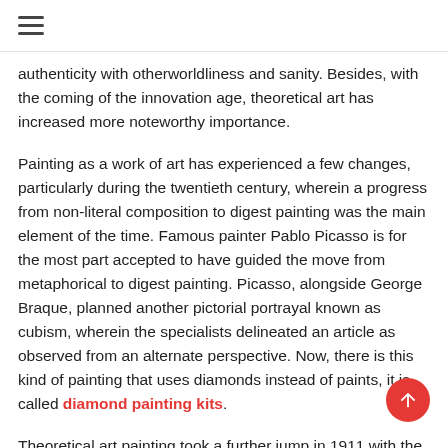≡
authenticity with otherworldliness and sanity. Besides, with the coming of the innovation age, theoretical art has increased more noteworthy importance.
Painting as a work of art has experienced a few changes, particularly during the twentieth century, wherein a progress from non-literal composition to digest painting was the main element of the time. Famous painter Pablo Picasso is for the most part accepted to have guided the move from metaphorical to digest painting. Picasso, alongside George Braque, planned another pictorial portrayal known as cubism, wherein the specialists delineated an article as observed from an alternate perspective. Now, there is this kind of painting that uses diamonds instead of paints, it is called diamond painting kits.
Theoretical art painting took a further jump in 1911 with the formation of manufactured cubism and systematic cubism. These types of cubism divided the subject in the work of art, for instance, in explanatory cubism, painters utilized crystalline geometry, while in engineered cubism the subjects were decreased in size. Specialists